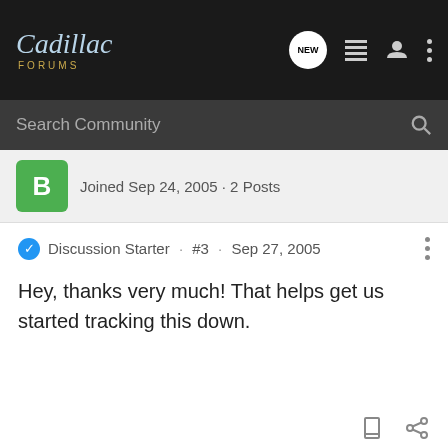Cadillac Forums
Search Community
Joined Sep 24, 2005 · 2 Posts
Discussion Starter · #3 · Sep 27, 2005
Hey, thanks very much! That helps get us started tracking this down.
dmusgrave · Registered
1972 Eldorado Convertible
Joined May 2, 2011 · 1 Posts